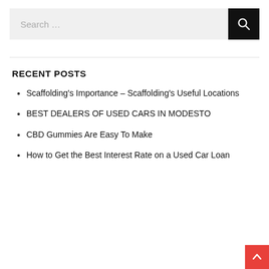[Figure (screenshot): Search bar with text 'Search ...' and a black search button with magnifying glass icon]
RECENT POSTS
Scaffolding's Importance – Scaffolding's Useful Locations
BEST DEALERS OF USED CARS IN MODESTO
CBD Gummies Are Easy To Make
How to Get the Best Interest Rate on a Used Car Loan